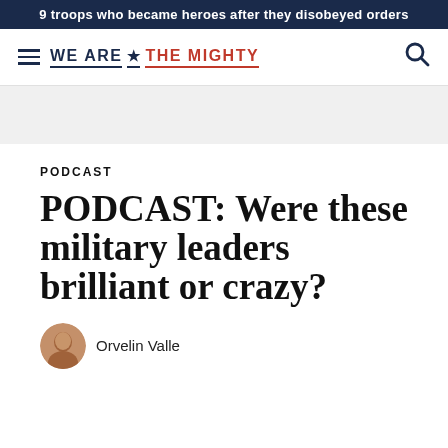9 troops who became heroes after they disobeyed orders
[Figure (logo): We Are The Mighty logo with hamburger menu and search icon]
PODCAST
PODCAST: Were these military leaders brilliant or crazy?
Orvelin Valle